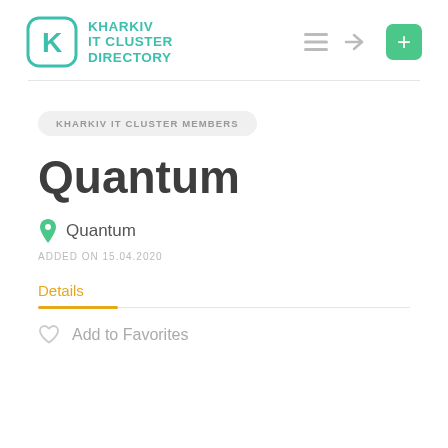KHARKIV IT CLUSTER DIRECTORY
KHARKIV IT CLUSTER MEMBERS
Quantum
Quantum
ADDED ON 15.04.2020
Details
Add to Favorites